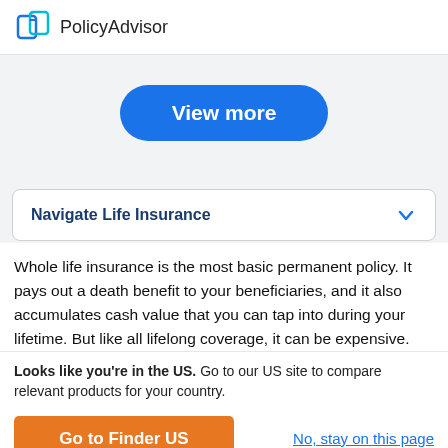PolicyAdvisor
[Figure (other): View more button - blue pill-shaped button with white bold text]
Navigate Life Insurance
Whole life insurance is the most basic permanent policy. It pays out a death benefit to your beneficiaries, and it also accumulates cash value that you can tap into during your lifetime. But like all lifelong coverage, it can be expensive.
Looks like you're in the US. Go to our US site to compare relevant products for your country.
Go to Finder US   No, stay on this page